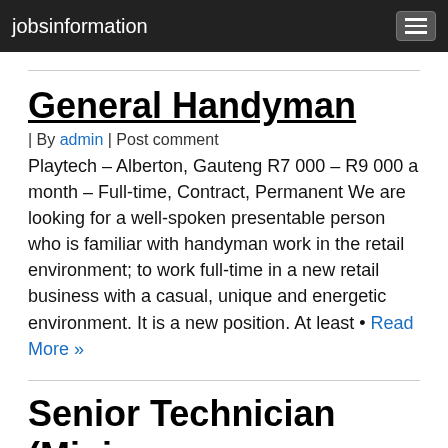jobsinformation
General Handyman
| By admin | Post comment
Playtech – Alberton, Gauteng R7 000 – R9 000 a month – Full-time, Contract, Permanent We are looking for a well-spoken presentable person who is familiar with handyman work in the retail environment; to work full-time in a new retail business with a casual, unique and energetic environment. It is a new position. At least • Read More »
Senior Technician (Mining